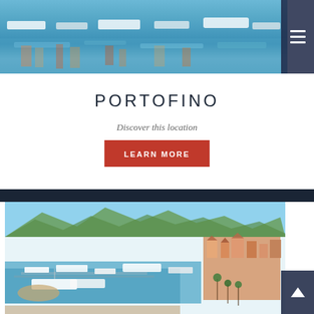[Figure (photo): Aerial photo of a harbor with boats and colorful water reflections, with a hamburger menu icon overlay in dark navy on the right side]
PORTOFINO
Discover this location
LEARN MORE
[Figure (photo): Aerial panoramic photo of Portofino harbor showing marina with yachts, colorful Mediterranean buildings, mountains in background, and blue waters]